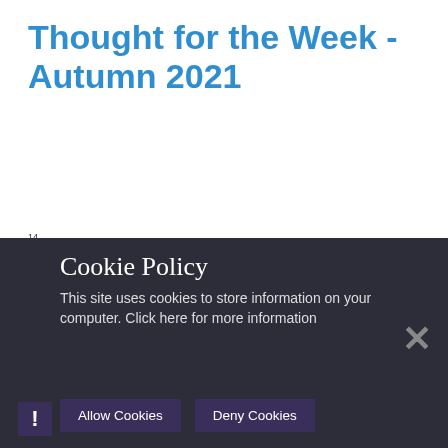Thought for the Week - Autumn 2021
14
[Figure (illustration): Illustration showing a magnifying glass with a blue question mark, a thought bubble with 'Thought for the Week' text, and the caption 'Seek and you will find' in blue text below.]
Why do you think Jesus said these words? Why is it our responsibility to ask/seek/knock?
Cookie Policy
This site uses cookies to store information on your computer. Click here for more information
Allow Cookies
Deny Cookies